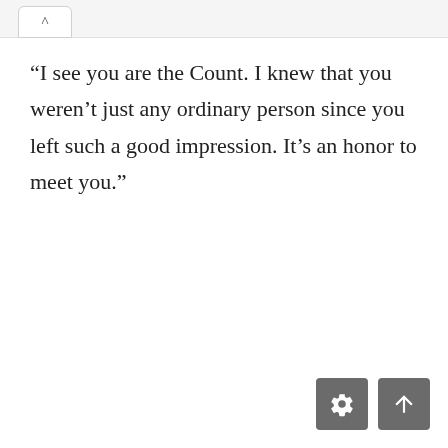^
“I see you are the Count. I knew that you weren’t just any ordinary person since you left such a good impression. It’s an honor to meet you.”